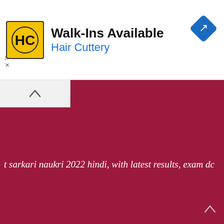[Figure (screenshot): Hair Cuttery advertisement banner with yellow HC logo, 'Walk-Ins Available' heading, 'Hair Cuttery' subtitle in blue, and a blue diamond navigation arrow icon on the right]
[Figure (screenshot): Sarkari Results website banner with logo text in orange on cream/yellow background with a gear icon and green paint drop icon]
t sarkari naukri 2022 hindi, with latest results, exam dc